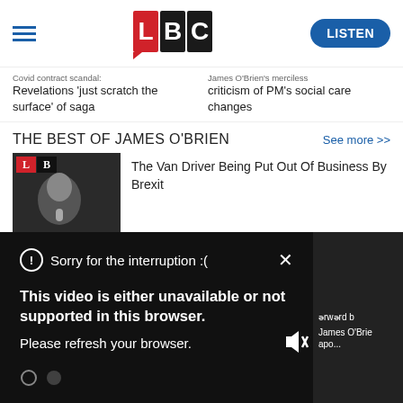LBC — LISTEN
Covid contract scandal: Revelations 'just scratch the surface' of saga
James O'Brien's merciless criticism of PM's social care changes
THE BEST OF JAMES O'BRIEN
See more >>
[Figure (screenshot): Thumbnail of James O'Brien on LBC]
The Van Driver Being Put Out Of Business By Brexit
[Figure (screenshot): Video player error overlay on dark background showing: Sorry for the interruption :( / This video is either unavailable or not supported in this browser. Please refresh your browser. / Error Code: MEDIA ERR SRC NOT SUPPORTED]
James O'Brie apo...
James O'Brien Rails At 'Throbbers' And